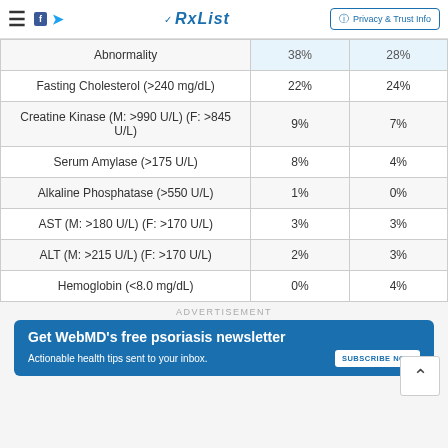RxList — Privacy & Trust Info
| Abnormality | 38% | 28% |
| --- | --- | --- |
| Fasting Cholesterol (>240 mg/dL) | 22% | 24% |
| Creatine Kinase (M: >990 U/L) (F: >845 U/L) | 9% | 7% |
| Serum Amylase (>175 U/L) | 8% | 4% |
| Alkaline Phosphatase (>550 U/L) | 1% | 0% |
| AST (M: >180 U/L) (F: >170 U/L) | 3% | 3% |
| ALT (M: >215 U/L) (F: >170 U/L) | 2% | 3% |
| Hemoglobin (<8.0 mg/dL) | 0% | 4% |
ADVERTISEMENT
[Figure (infographic): WebMD advertisement banner: Get WebMD's free psoriasis newsletter. Actionable health tips sent to your inbox. Subscribe Now button.]